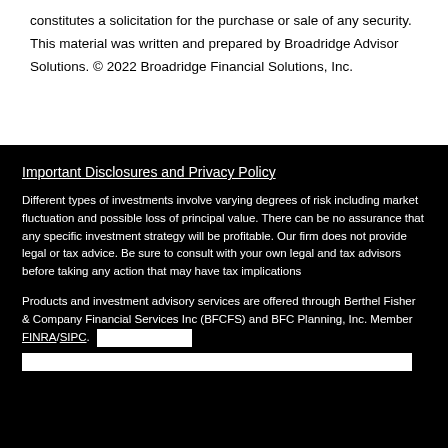constitutes a solicitation for the purchase or sale of any security. This material was written and prepared by Broadridge Advisor Solutions. © 2022 Broadridge Financial Solutions, Inc.
Important Disclosures and Privacy Policy
Different types of investments involve varying degrees of risk including market fluctuation and possible loss of principal value. There can be no assurance that any specific investment strategy will be profitable. Our firm does not provide legal or tax advice. Be sure to consult with your own legal and tax advisors before taking any action that may have tax implications
Products and investment advisory services are offered through Berthel Fisher & Company Financial Services Inc (BFCFS) and BFC Planning, Inc. Member FINRA/SIPC.